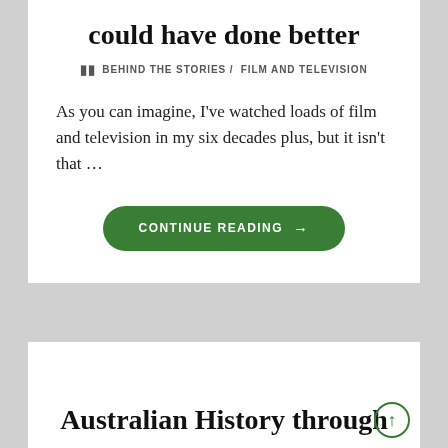could have done better
BEHIND THE STORIES / FILM AND TELEVISION
As you can imagine, I've watched loads of film and television in my six decades plus, but it isn't that …
CONTINUE READING →
Australian History through a crooked lens